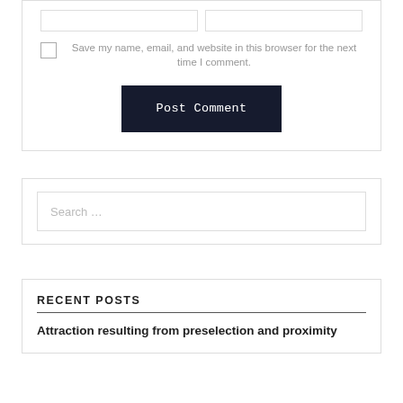[Figure (screenshot): Top portion of a comment form with two input boxes side by side]
Save my name, email, and website in this browser for the next time I comment.
Post Comment
Search …
RECENT POSTS
Attraction resulting from preselection and proximity